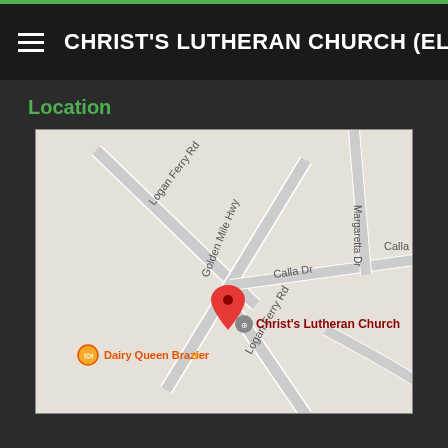CHRIST'S LUTHERAN CHURCH (ELCA)
Location
[Figure (map): Google Maps screenshot showing the location of Christ's Lutheran Church on Golden Mile Hwy, near the intersection with Logan Ferry Rd and Calla Dr. A red map pin marks the church location. Also visible are Dairy Queen Brazier, Margaretta Dr, and Logan Ferry Rd labels.]